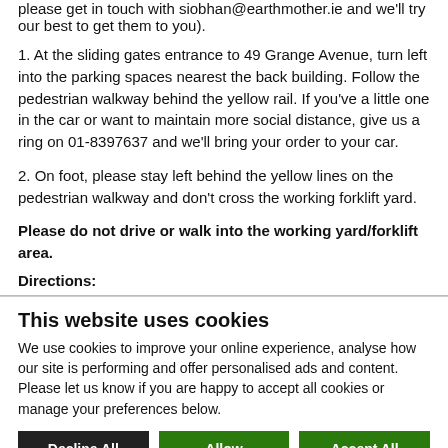please get in touch with siobhan@earthmother.ie and we'll try our best to get them to you).
1. At the sliding gates entrance to 49 Grange Avenue, turn left into the parking spaces nearest the back building. Follow the pedestrian walkway behind the yellow rail. If you've a little one in the car or want to maintain more social distance, give us a ring on 01-8397637 and we'll bring your order to your car.
2. On foot, please stay left behind the yellow lines on the pedestrian walkway and don't cross the working forklift yard.
Please do not drive or walk into the working yard/forklift area.
Directions:
This website uses cookies
We use cookies to improve your online experience, analyse how our site is performing and offer personalised ads and content. Please let us know if you are happy to accept all cookies or manage your preferences below.
Decline All Cookies | Allow Selection | Accept All
Necessary (checked), Preferences (unchecked), Statistics (unchecked), Marketing (unchecked). Show details.